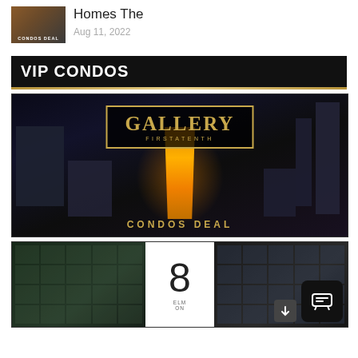[Figure (photo): Small thumbnail image of a building with 'CONDOS DEAL' text overlay]
Homes The
Aug 11, 2022
VIP CONDOS
[Figure (photo): Gallery Firstatenth Condos Deal promotional image showing illuminated tower with gold branding logo and city backdrop]
[Figure (photo): 8 Elm On condo promotional image showing building exterior with large '8' numeral logo in white box center]